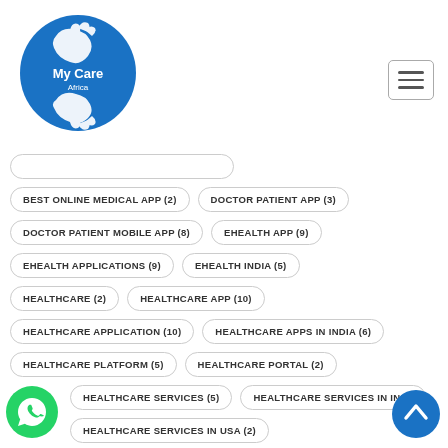[Figure (logo): My Care Africa logo — blue circle with two white hands and text 'My Care Africa']
BEST ONLINE MEDICAL APP (2)
DOCTOR PATIENT APP (3)
DOCTOR PATIENT MOBILE APP (8)
EHEALTH APP (9)
EHEALTH APPLICATIONS (9)
EHEALTH INDIA (5)
HEALTHCARE (2)
HEALTHCARE APP (10)
HEALTHCARE APPLICATION (10)
HEALTHCARE APPS IN INDIA (6)
HEALTHCARE PLATFORM (5)
HEALTHCARE PORTAL (2)
HEALTHCARE SERVICES (5)
HEALTHCARE SERVICES IN INDIA
HEALTHCARE SERVICES IN USA (2)